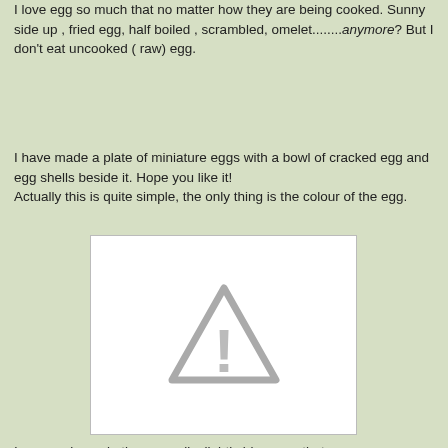I love egg so much that no matter how they are being cooked. Sunny side up , fried egg, half boiled , scrambled, omelet.........anymore?   But I don't eat uncooked ( raw) egg.
I have made a plate of miniature eggs with a bowl of cracked egg and egg shells beside it. Hope you like it!
Actually this is quite simple, the only thing is the colour of the egg.
[Figure (photo): Placeholder image with a gray warning/caution triangle icon with an exclamation mark, on white background]
I  purposely made the egg yolk slightly bigger so that